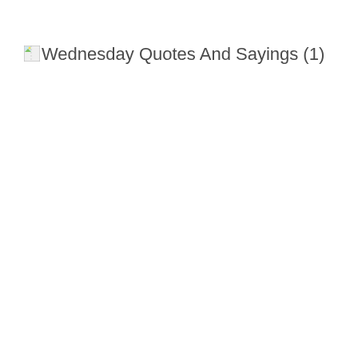[Figure (other): Broken image placeholder icon followed by alt text 'Wednesday Quotes And Sayings (1)']